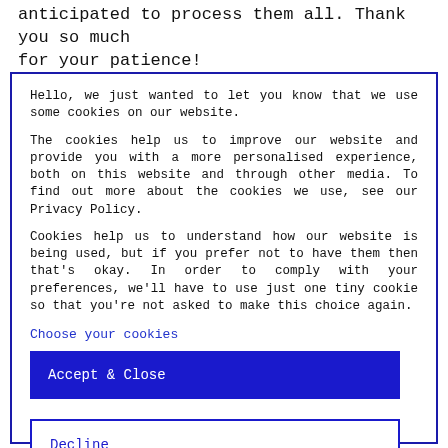anticipated to process them all. Thank you so much for your patience!
Hello, we just wanted to let you know that we use some cookies on our website.

The cookies help us to improve our website and provide you with a more personalised experience, both on this website and through other media. To find out more about the cookies we use, see our Privacy Policy.

Cookies help us to understand how our website is being used, but if you prefer not to have them then that's okay. In order to comply with your preferences, we'll have to use just one tiny cookie so that you're not asked to make this choice again.
Choose your cookies
Accept & Close
Decline